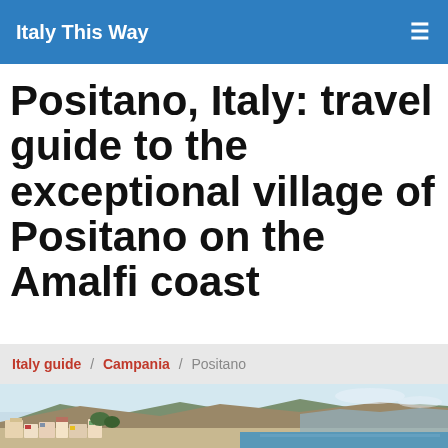Italy This Way
Positano, Italy: travel guide to the exceptional village of Positano on the Amalfi coast
Italy guide / Campania / Positano
[Figure (photo): Coastal view of Positano village on the Amalfi coast, showing colorful buildings on cliffside with the Mediterranean sea in the background]